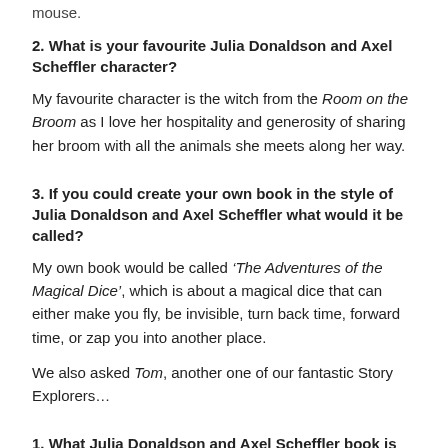mouse.
2. What is your favourite Julia Donaldson and Axel Scheffler character?
My favourite character is the witch from the Room on the Broom as I love her hospitality and generosity of sharing her broom with all the animals she meets along her way.
3. If you could create your own book in the style of Julia Donaldson and Axel Scheffler what would it be called?
My own book would be called ‘The Adventures of the Magical Dice’, which is about a magical dice that can either make you fly, be invisible, turn back time, forward time, or zap you into another place.
We also asked Tom, another one of our fantastic Story Explorers…
1. What Julia Donaldson and Axel Scheffler book is your favourite and why?